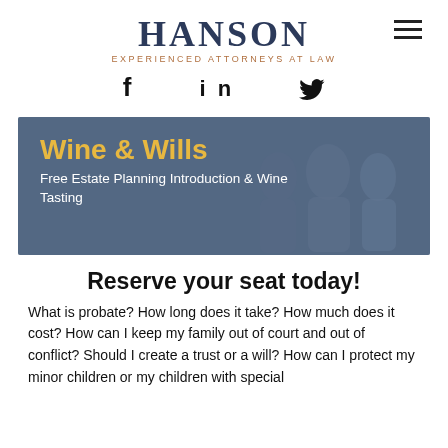HANSON — EXPERIENCED ATTORNEYS AT LAW
[Figure (logo): Hanson Experienced Attorneys at Law logo with hamburger menu icon and social media icons (Facebook, LinkedIn, Twitter)]
[Figure (photo): Banner image showing elderly people at a wine tasting event with blue overlay, titled 'Wine & Wills' with subtitle 'Free Estate Planning Introduction & Wine Tasting']
Reserve your seat today!
What is probate? How long does it take? How much does it cost? How can I keep my family out of court and out of conflict? Should I create a trust or a will? How can I protect my minor children or my children with special